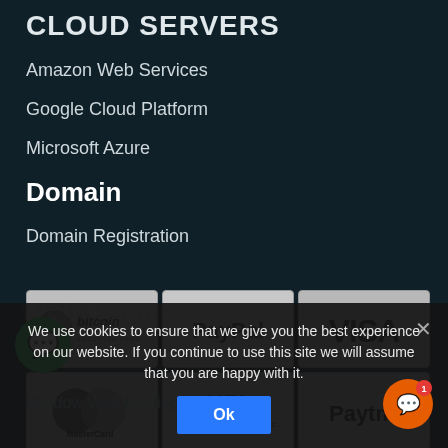CLOUD SERVERS
Amazon Web Services
Google Cloud Platform
Microsoft Azure
Domain
Domain Registration
[Figure (infographic): Payment method logos grid: Bitcoin (Accepted Here), PayPal, VISA, MasterCard, UPI (Unified Payments Interface), Paytm]
We use cookies to ensure that we give you the best experience on our website. If you continue to use this site we will assume that you are happy with it.
Ok
Window Web Hosting